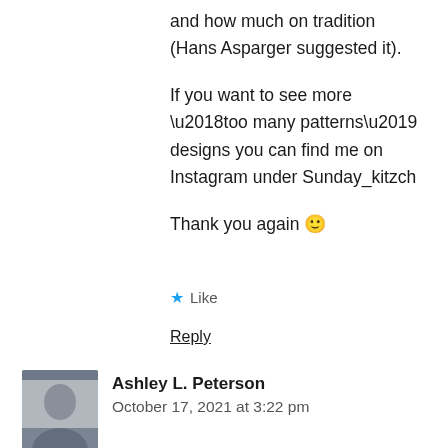and how much on tradition (Hans Asparger suggested it).
If you want to see more ‘too many patterns’ designs you can find me on Instagram under Sunday_kitzch
Thank you again 🙂
★ Like
Reply
Ashley L. Peterson
October 17, 2021 at 3:22 pm
Something like about tradition that it/